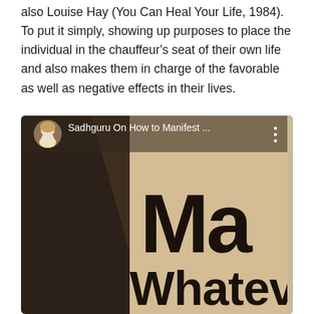also Louise Hay (You Can Heal Your Life, 1984). To put it simply, showing up purposes to place the individual in the chauffeur's seat of their own life and also makes them in charge of the favorable as well as negative effects in their lives.
[Figure (screenshot): YouTube video thumbnail showing Sadhguru On How to Manifest... with large text 'Ma' and 'Whatev' visible on a beige/tan background with dark diagonal shape and Sadhguru avatar icon]